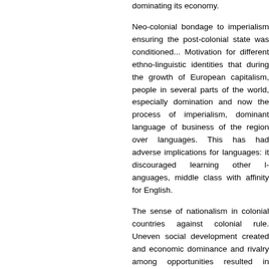dominating its economy.
Neo-colonial bondage to imperialism ens... the post-colonial state was conditioned... Motivation for different ethno-linguistic id... that during the growth of European capita... people in several parts of the world, es... domination and now the process of impe... dominant language of business of the re... languages. This has had adverse implica... languages: it discouraged learning other l... middle class with affinity for English.
The sense of nationalism in colonial coun... colonial rule. Uneven social developmen... and economic dominance and rivalry a... opportunities resulted in identity-based riv...
Historical contradictions between identity... came to the fore in the run-up to or a... encouraged by the colonial rulers who set...
Whatever the cause, minority nationalities... a target of oppression by a majority. And... the socialist cause.